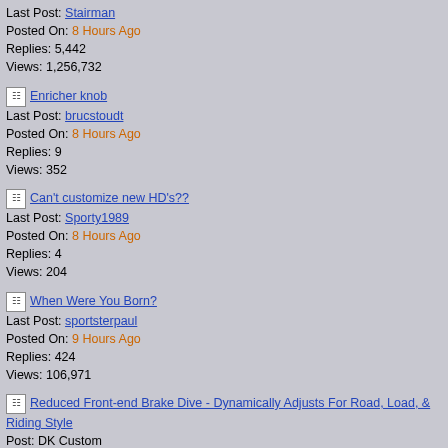Last Post: Stairman
Posted On: 8 Hours Ago
Replies: 5,442
Views: 1,256,732
Enricher knob
Last Post: brucstoudt
Posted On: 8 Hours Ago
Replies: 9
Views: 352
Can't customize new HD's??
Last Post: Sporty1989
Posted On: 8 Hours Ago
Replies: 4
Views: 204
When Were You Born?
Last Post: sportsterpaul
Posted On: 9 Hours Ago
Replies: 424
Views: 106,971
Reduced Front-end Brake Dive - Dynamically Adjusts For Road, Load, & Riding Style
Post: DK Custom
[Figure (screenshot): DK High Custom Products advertisement with orange/black background and large white DK logo]
[Figure (screenshot): Grondyke Soap advertisement with PHEROMONE MEN'S GROOMING text]
[Figure (screenshot): Bottom advertisement: Coping with Metastatic Breast Cancer: 6 Self- with woman photo and blue arrow button, n/a subtext]